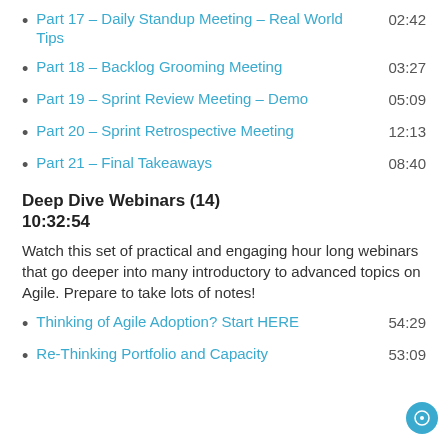Part 17 – Daily Standup Meeting – Real World Tips    02:42
Part 18 – Backlog Grooming Meeting    03:27
Part 19 – Sprint Review Meeting – Demo    05:09
Part 20 – Sprint Retrospective Meeting    12:13
Part 21 – Final Takeaways    08:40
Deep Dive Webinars (14)
10:32:54
Watch this set of practical and engaging hour long webinars that go deeper into many introductory to advanced topics on Agile. Prepare to take lots of notes!
Thinking of Agile Adoption? Start HERE    54:29
Re-Thinking Portfolio and Capacity    53:09